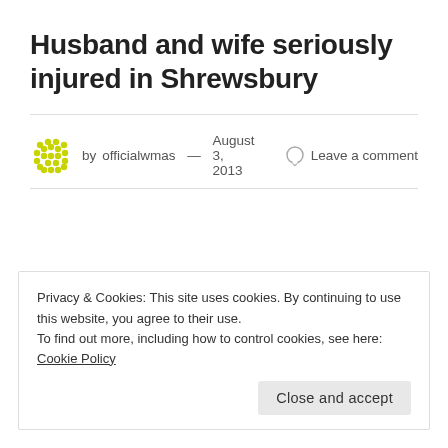Husband and wife seriously injured in Shrewsbury
by officialwmas — August 3, 2013   Leave a comment
Privacy & Cookies: This site uses cookies. By continuing to use this website, you agree to their use.
To find out more, including how to control cookies, see here: Cookie Policy
Close and accept